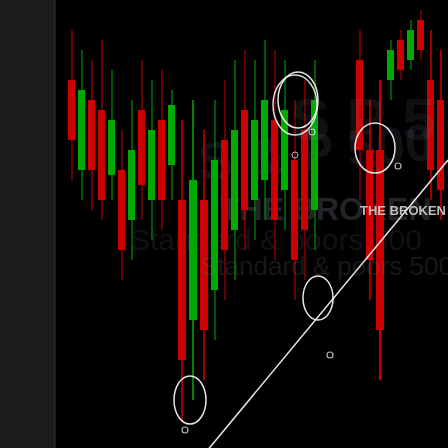[Figure (continuous-plot): S&P 500 candlestick chart (price history May-Jun 2010) with trendline drawn through several highlighted pivot points (circled). Red and green candlesticks on black background. Diagonal support/resistance line from lower-left to upper-right. Watermark text 'Standard & Poors 500' and 'THE BROKEN' visible. Time axis shows dates 21, 24, 25, 26, 27, 28 May 2010, then 1, 2 Jun 2010, then 9, 10. Timestamp 02:29:13 shown.]
21  24  25  26  27  28  1  2   02:29:13   9  10
2010                    Jun 2010
SP-500 (Standard & Poors 500)
Jun 4 2010 10:48:21
Price History